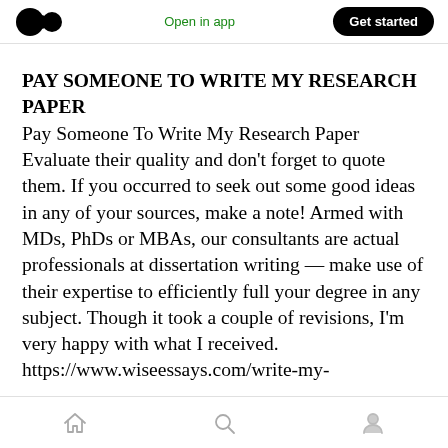Open in app  Get started
PAY SOMEONE TO WRITE MY RESEARCH PAPER
Pay Someone To Write My Research Paper Evaluate their quality and don't forget to quote them. If you occurred to seek out some good ideas in any of your sources, make a note! Armed with MDs, PhDs or MBAs, our consultants are actual professionals at dissertation writing — make use of their expertise to efficiently full your degree in any subject. Though it took a couple of revisions, I'm very happy with what I received.
https://www.wiseessays.com/write-my-
home  search  profile